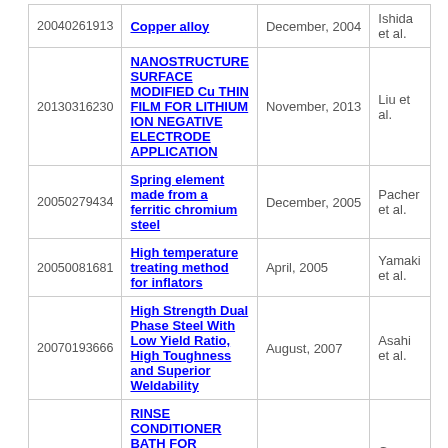| 20040261913 | Copper alloy | December, 2004 | Ishida et al. |
| 20130316230 | NANOSTRUCTURE SURFACE MODIFIED Cu THIN FILM FOR LITHIUM ION NEGATIVE ELECTRODE APPLICATION | November, 2013 | Liu et al. |
| 20050279434 | Spring element made from a ferritic chromium steel | December, 2005 | Pacher et al. |
| 20050081681 | High temperature treating method for inflators | April, 2005 | Yamaki et al. |
| 20070193666 | High Strength Dual Phase Steel With Low Yield Ratio, High Toughness and Superior Weldability | August, 2007 | Asahi et al. |
| 20080283152 | RINSE CONDITIONER BATH FOR TREATING A SUBSTRATE AND ASSOCIATED METHOD | November, 2008 | Greene et al. |